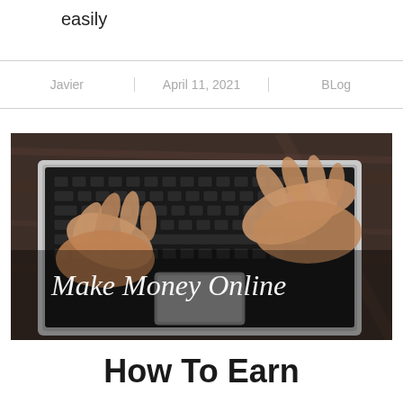easily
| Javier | April 11, 2021 | BLog |
[Figure (photo): Hands typing on a laptop keyboard on a wooden desk, with 'Make Money Online' text overlay in white script]
How To Earn